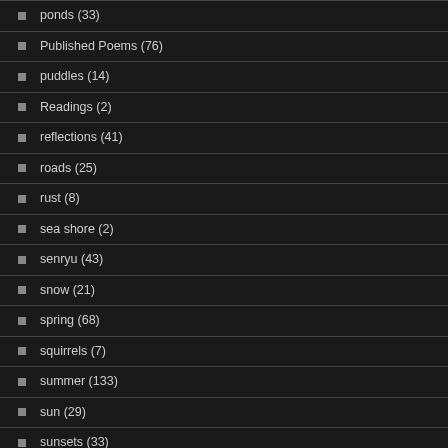ponds (33)
Published Poems (76)
puddles (14)
Readings (2)
reflections (41)
roads (25)
rust (8)
sea shore (2)
senryu (43)
snow (21)
spring (68)
squirrels (7)
summer (133)
sun (29)
sunsets (33)